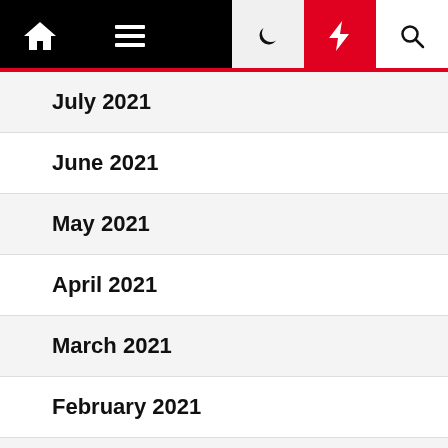Navigation bar with home, menu, moon, lightning, and search icons
July 2021
June 2021
May 2021
April 2021
March 2021
February 2021
January 2021
December 2020
November 2020
October 2020